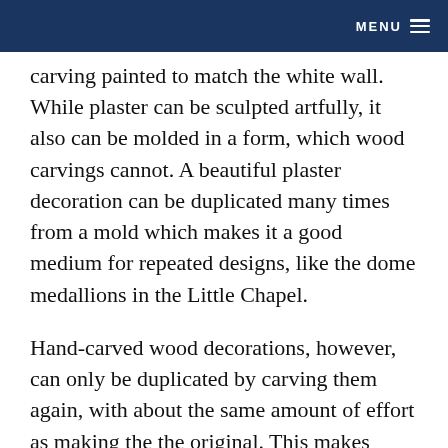MENU
carving painted to match the white wall. While plaster can be sculpted artfully, it also can be molded in a form, which wood carvings cannot. A beautiful plaster decoration can be duplicated many times from a mold which makes it a good medium for repeated designs, like the dome medallions in the Little Chapel.
Hand-carved wood decorations, however, can only be duplicated by carving them again, with about the same amount of effort as making the the original. This makes hand-carved wood architectural decorations inherently more valuable than plaster decorations.